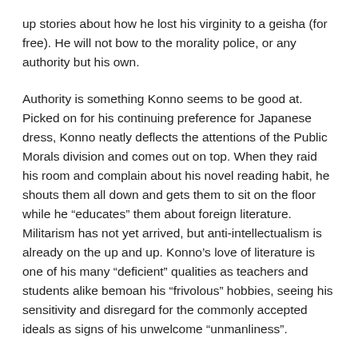up stories about how he lost his virginity to a geisha (for free). He will not bow to the morality police, or any authority but his own.
Authority is something Konno seems to be good at. Picked on for his continuing preference for Japanese dress, Konno neatly deflects the attentions of the Public Morals division and comes out on top. When they raid his room and complain about his novel reading habit, he shouts them all down and gets them to sit on the floor while he “educates” them about foreign literature. Militarism has not yet arrived, but anti-intellectualism is already on the up and up. Konno’s love of literature is one of his many “deficient” qualities as teachers and students alike bemoan his “frivolous” hobbies, seeing his sensitivity and disregard for the commonly accepted ideals as signs of his unwelcome “unmanliness”.
Konno’s other big problem is, as might be expected, girls. Having been in town only moments Konno takes a fancy to doctor’s daughter Emiko (Masako Izumi) – his desire is only further inflamed